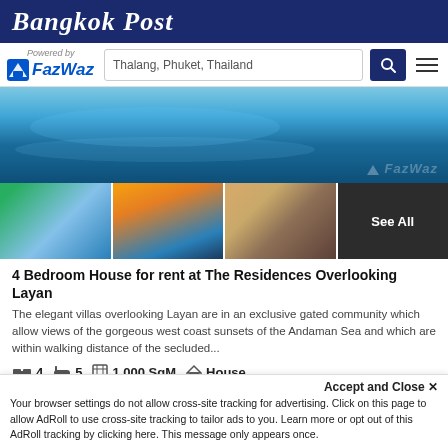Bangkok Post
[Figure (logo): FazWaz powered-by logo with search bar showing 'Thalang, Phuket, Thailand', search icon, and hamburger menu]
[Figure (photo): Main large photo of an infinity pool with blue water, FazWaz watermark]
[Figure (photo): Four thumbnail photos: pool villa exterior, outdoor dining at sunset, interior living room, dark interior with 'See All' overlay]
4 Bedroom House for rent at The Residences Overlooking Layan
The elegant villas overlooking Layan are in an exclusive gated community which allow views of the gorgeous west coast sunsets of the Andaman Sea and which are within walking distance of the secluded...
4 bedrooms, 5 bathrooms, 1,000 SqM, House
Beach 1.47 km | Year Built 2016 | Sea View | Private Pool
Accept and Close ✕
Your browser settings do not allow cross-site tracking for advertising. Click on this page to allow AdRoll to use cross-site tracking to tailor ads to you. Learn more or opt out of this AdRoll tracking by clicking here. This message only appears once.